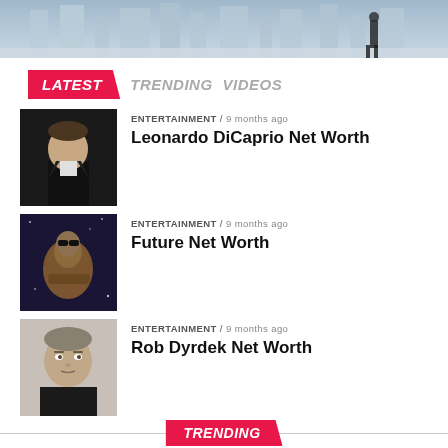[Figure (photo): Partial top image showing a person in a suit standing on a reflective surface with city skyline in background]
[Figure (infographic): Navigation bar with LATEST (pink/red highlighted), TRENDING, VIDEOS tabs]
[Figure (photo): Thumbnail photo of Leonardo DiCaprio in a tuxedo]
ENTERTAINMENT / 9 months ago
Leonardo DiCaprio Net Worth
[Figure (photo): Thumbnail photo of Future the rapper performing on stage]
ENTERTAINMENT / 9 months ago
Future Net Worth
[Figure (photo): Thumbnail photo of Rob Dyrdek]
ENTERTAINMENT / 9 months ago
Rob Dyrdek Net Worth
TRENDING